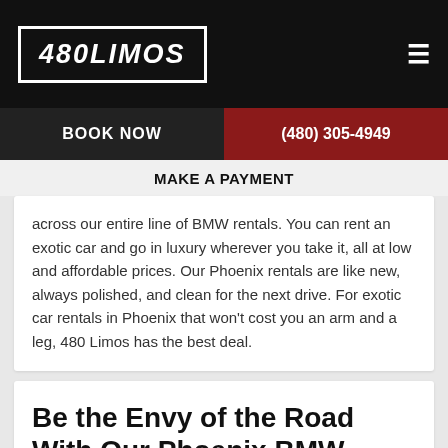480LIMOS
BOOK NOW | (480) 305-4949
MAKE A PAYMENT
across our entire line of BMW rentals. You can rent an exotic car and go in luxury wherever you take it, all at low and affordable prices. Our Phoenix rentals are like new, always polished, and clean for the next drive. For exotic car rentals in Phoenix that won't cost you an arm and a leg, 480 Limos has the best deal.
Be the Envy of the Road With Our Phoenix BMW